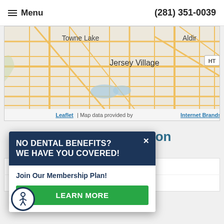Menu   (281) 351-0039
[Figure (map): Street map showing Towne Lake, Jersey Village, and Aldir areas with orange road network. Attribution: Leaflet | Map data provided by Internet Brands]
Hours of Operation
Our Regular Schedule
0 am  -  5:00 pm
0 am  -  5:00 pm
[Figure (infographic): Popup overlay with dark navy background header reading: NO DENTAL BENEFITS? WE HAVE YOU COVERED! with close X button, subtitle Join Our Membership Plan!, and green LEARN MORE button]
[Figure (other): Accessibility icon button - circular with person figure symbol]